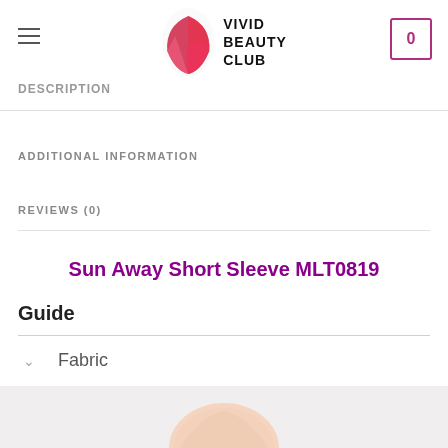VIVID BEAUTY CLUB
DESCRIPTION
ADDITIONAL INFORMATION
REVIEWS (0)
Sun Away Short Sleeve MLT0819
Guide
Fabric
Care
Features
[Figure (photo): Bottom portion showing a person's neck/collar area against a light background]